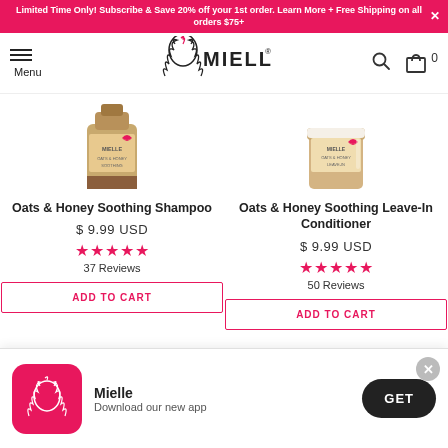Limited Time Only! Subscribe & Save 20% off your 1st order. Learn More + Free Shipping on all orders $75+
[Figure (logo): Mielle Organics logo with curly hair icon and brand name]
[Figure (photo): Oats & Honey Soothing Shampoo product bottle]
Oats & Honey Soothing Shampoo
$ 9.99 USD
★★★★★ 37 Reviews
ADD TO CART
[Figure (photo): Oats & Honey Soothing Leave-In Conditioner product bottle]
Oats & Honey Soothing Leave-In Conditioner
$ 9.99 USD
★★★★★ 50 Reviews
ADD TO CART
Mielle
Download our new app
GET